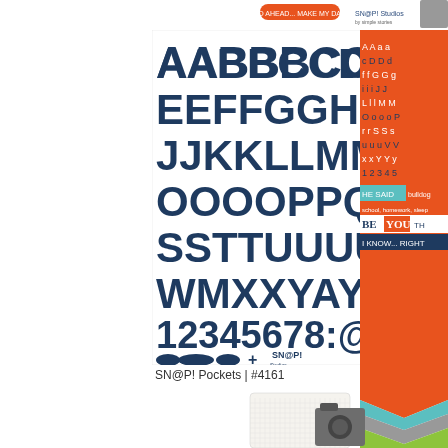[Figure (illustration): Partial top strip showing product labels and a gray card corner at top right]
[Figure (illustration): Dark navy blue alphabet sticker sheet showing letters A through Z, numbers 1-8, punctuation including colon and @ symbol, and decorative shapes. Text reads: AABBBCCDDE EEFFGGHHIIII JJKKLLMMNN OOOOPPQQRRS SSTTLUUUUAV& WMXXYAYZZ 12345678:@ followed by shapes and SN@P! Studios logo]
SN@P! Pockets | #4161
[Figure (illustration): Right edge panel showing orange background with alphabets and word stickers in various colors including teal, orange, gray, white. Shows BE YOU and I KNOW... RIGHT text among others]
[Figure (illustration): Bottom section showing scrapbook pocket pages with grid paper, chevron pattern in orange/teal/green/gray, and dark gray camera/bag icons]